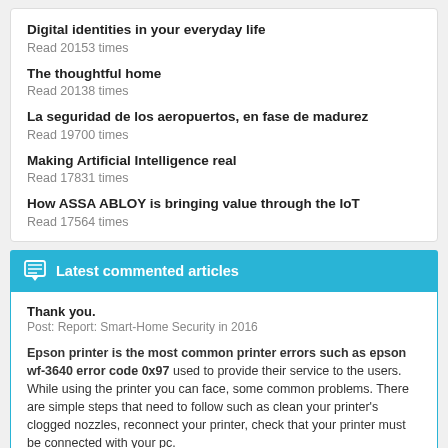Digital identities in your everyday life
Read 20153 times
The thoughtful home
Read 20138 times
La seguridad de los aeropuertos, en fase de madurez
Read 19700 times
Making Artificial Intelligence real
Read 17831 times
How ASSA ABLOY is bringing value through the IoT
Read 17564 times
Latest commented articles
Thank you.
Post: Report: Smart-Home Security in 2016
Epson printer is the most common printer errors such as epson wf-3640 error code 0x97 used to provide their service to the users. While using the printer you can face, some common problems. There are simple steps that need to follow such as clean your printer's clogged nozzles, reconnect your printer, check that your printer must be connected with your pc.
Post: Reducing mobile security risks